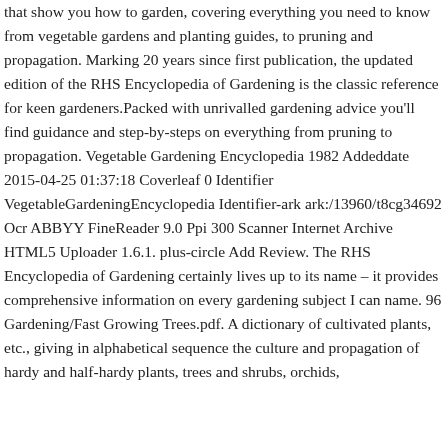that show you how to garden, covering everything you need to know from vegetable gardens and planting guides, to pruning and propagation. Marking 20 years since first publication, the updated edition of the RHS Encyclopedia of Gardening is the classic reference for keen gardeners.Packed with unrivalled gardening advice you'll find guidance and step-by-steps on everything from pruning to propagation. Vegetable Gardening Encyclopedia 1982 Addeddate 2015-04-25 01:37:18 Coverleaf 0 Identifier VegetableGardeningEncyclopedia Identifier-ark ark:/13960/t8cg34692 Ocr ABBYY FineReader 9.0 Ppi 300 Scanner Internet Archive HTML5 Uploader 1.6.1. plus-circle Add Review. The RHS Encyclopedia of Gardening certainly lives up to its name – it provides comprehensive information on every gardening subject I can name. 96 Gardening/Fast Growing Trees.pdf. A dictionary of cultivated plants, etc., giving in alphabetical sequence the culture and propagation of hardy and half-hardy plants, trees and shrubs, orchids,